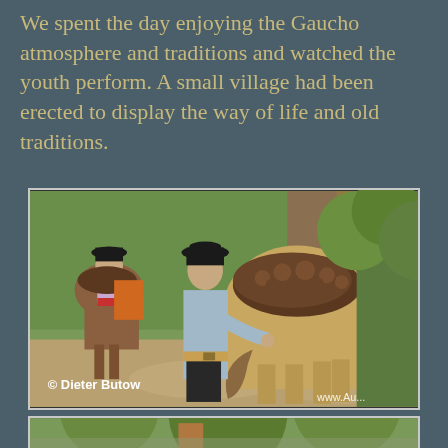We spent the day enjoying the Gaucho atmosphere and traditions and watched the youth perform. A small village had been erected to display the way of life and old traditions.
[Figure (photo): A gaucho man in a black hat and light blue shirt holds a horse from behind, with a brown sheepskin saddle. Another rider on horseback is visible in the background among trees. Photo credited to Dieter Butow.]
[Figure (photo): Partial view of a second outdoor photograph showing trees and what appears to be a gaucho scene, partially cut off at the bottom of the page.]